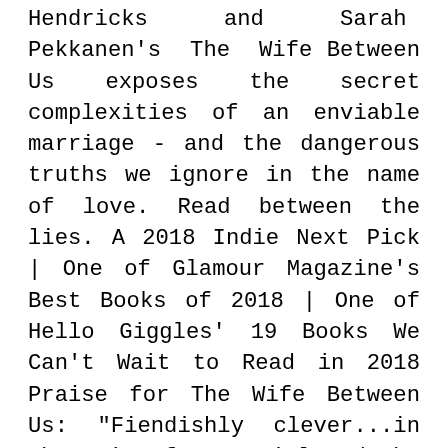Hendricks and Sarah Pekkanen's The Wife Between Us exposes the secret complexities of an enviable marriage - and the dangerous truths we ignore in the name of love. Read between the lies. A 2018 Indie Next Pick | One of Glamour Magazine's Best Books of 2018 | One of Hello Giggles' 19 Books We Can't Wait to Read in 2018 Praise for The Wife Between Us: "Fiendishly clever...in the vein of Gone Girl and The Girl on the Train. This one will keep you guessing." —Anita Shreve, New York Times bestselling author of The Stars are Fire “A clever thriller with masterful twists.” – Karin Slaughter, New York Times bestselling author of The Kept Woman "The Wife Between Us delivers a whip smart, twisty plot in a taut, pacy narrative. It's terrific and troubling. This is one